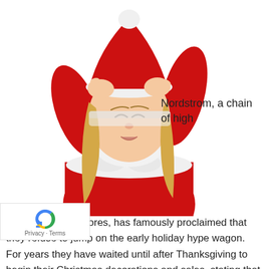[Figure (photo): A woman in a red and white Santa Claus costume looking stressed, pulling her Santa hat down over her eyes with both hands raised to her head.]
Nordstrom, a chain of high end department stores, has famously proclaimed that they refuse to jump on the early holiday hype wagon. For years they have waited until after Thanksgiving to begin their Christmas decorations and sales, stating that they simply like to celebrate one